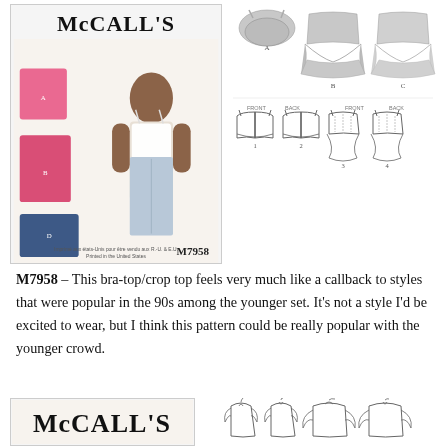[Figure (illustration): McCall's sewing pattern M7958 envelope showing a model wearing a white crop/bra top with jeans, plus smaller inset photos of pink/blue floral versions of the same top. Logo reads McCalls at top.]
[Figure (illustration): Technical flat sketches (front and back views) of bra-top and peplum crop top from McCall's pattern M7958, shown in line drawing style.]
M7958 – This bra-top/crop top feels very much like a callback to styles that were popular in the 90s among the younger set. It's not a style I'd be excited to wear, but I think this pattern could be really popular with the younger crowd.
[Figure (illustration): McCall's logo on a pattern envelope, bottom of page, partial view.]
[Figure (illustration): Technical flat sketches (front and back views) of blouse/top from another McCall's pattern, shown in line drawing style, bottom right of page.]